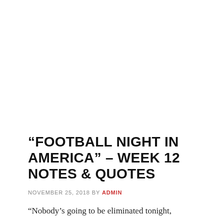“FOOTBALL NIGHT IN AMERICA” – WEEK 12 NOTES & QUOTES
NOVEMBER 25, 2018 BY ADMIN
“Nobody’s going to be eliminated tonight,